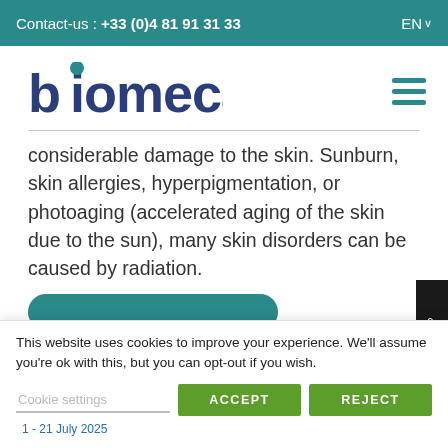Contact-us : +33 (0)4 81 91 31 33 | EN
[Figure (logo): Biomeca company logo with stylized 'b' and circular dot above the 'i', in blue and teal colors]
considerable damage to the skin. Sunburn, skin allergies, hyperpigmentation, or photoaging (accelerated aging of the skin due to the sun), many skin disorders can be caused by radiation.
This website uses cookies to improve your experience. We'll assume you're ok with this, but you can opt-out if you wish.